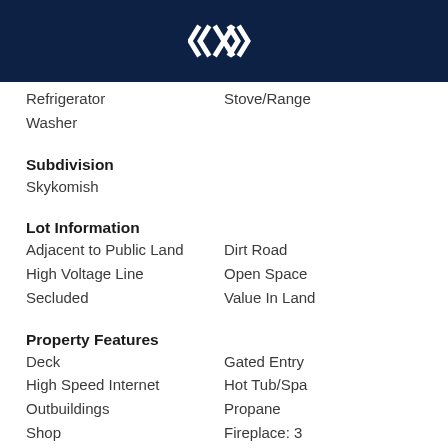[Figure (logo): White diamond/arrow logo on dark navy background]
Refrigerator
Stove/Range
Washer
Subdivision
Skykomish
Lot Information
Adjacent to Public Land
Dirt Road
High Voltage Line
Open Space
Secluded
Value In Land
Property Features
Deck
Gated Entry
High Speed Internet
Hot Tub/Spa
Outbuildings
Propane
Shop
Fireplace: 3
Foundation: Poured